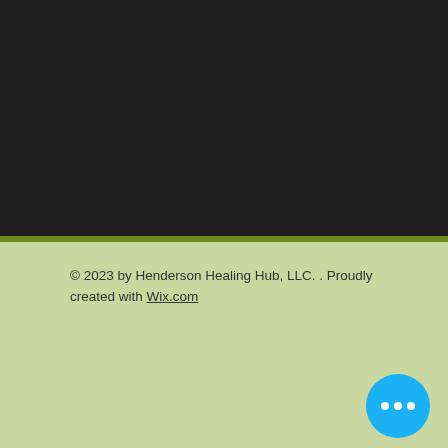[Figure (screenshot): Dark background section at the top of the page]
© 2023 by Henderson Healing Hub, LLC. . Proudly created with Wix.com